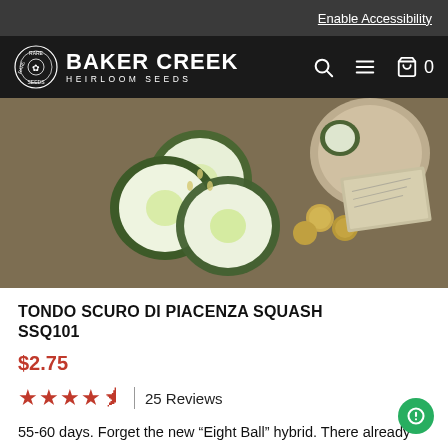Enable Accessibility
[Figure (logo): Baker Creek Heirloom Seeds logo with circular badge and bold text]
[Figure (photo): Photo of sliced round zucchini squash on a wooden surface with coins and a vintage paper document]
TONDO SCURO DI PIACENZA SQUASH SSQ101
$2.75
25 Reviews
55-60 days. Forget the new “Eight Ball” hybrid. There already was an heirloom version. These are a rich, …